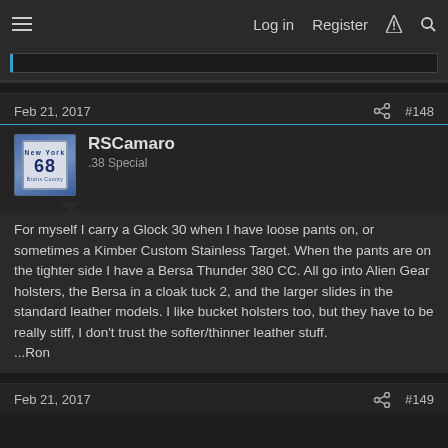Log in  Register
Feb 21, 2017   #148
RSCamaro
.38 Special
For myself I carry a Glock 30 when I have loose pants on, or sometimes a Kimber Custom Stainless Target. When the pants are on the tighter side I have a Bersa Thunder 380 CC. All go into Alien Gear holsters, the Bersa in a cloak tuck 2, and the larger slides in the standard leather models. I like bucket holsters too, but they have to be really stiff, I don't trust the softer/thinner leather stuff.
...Ron
Feb 21, 2017   #149